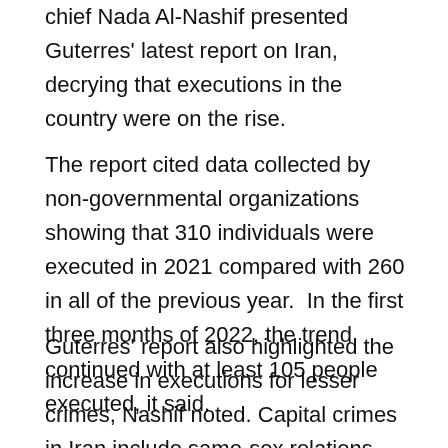chief Nada Al-Nashif presented Guterres' latest report on Iran, decrying that executions in the country were on the rise.
The report cited data collected by non-governmental organizations showing that 310 individuals were executed in 2021 compared with 260 in all of the previous year.  In the first three months of 2022, the trend continued with at least 105 people executed, it said.
Guterres' report also highlighted the increase in executions for lesser crimes, Nashif noted. Capital crimes in Iran include same-sex relations, armed rebellion, and “spreading